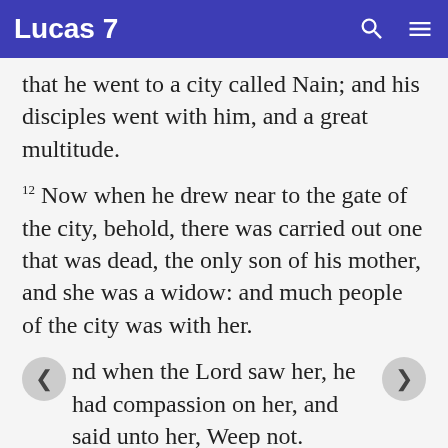Lucas 7
that he went to a city called Nain; and his disciples went with him, and a great multitude.
12 Now when he drew near to the gate of the city, behold, there was carried out one that was dead, the only son of his mother, and she was a widow: and much people of the city was with her.
nd when the Lord saw her, he had compassion on her, and said unto her, Weep not.
14 And he came nigh and touched the bier: